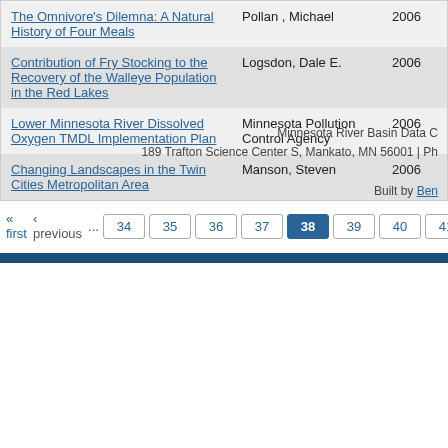| Title | Author | Year |
| --- | --- | --- |
| The Omnivore's Dilemna: A Natural History of Four Meals | Pollan , Michael | 2006 |
| Contribution of Fry Stocking to the Recovery of the Walleye Population in the Red Lakes | Logsdon, Dale E. | 2006 |
| Lower Minnesota River Dissolved Oxygen TMDL Implementation Plan | Minnesota Pollution Control Agency | 2006 |
| Changing Landscapes in the Twin Cities Metropolitan Area | Manson, Steven | 2006 |
« first  ‹ previous  ...  34  35  36  37  [38]  39  40  41  42  ...
Minnesota River Basin Data C
189 Trafton Science Center S, Mankato, MN 56001 | Ph
Built by Ben